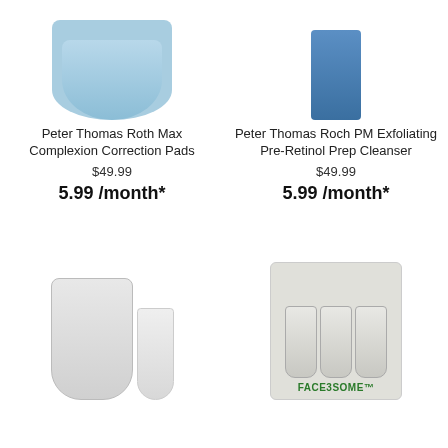[Figure (photo): Peter Thomas Roth Max Complexion Correction Pads product container, blue circular tub]
[Figure (photo): Peter Thomas Roth PM Exfoliating Pre-Retinol Prep Cleanser, blue bottle]
Peter Thomas Roth Max Complexion Correction Pads
$49.99
5.99 /month*
Peter Thomas Roch PM Exfoliating Pre-Retinol Prep Cleanser
$49.99
5.99 /month*
[Figure (photo): Billy Jealousy White Knight Cleanser large bottle and small travel bottle]
[Figure (photo): Billy Jealousy FACE3SOME kit with three bottles in a box]